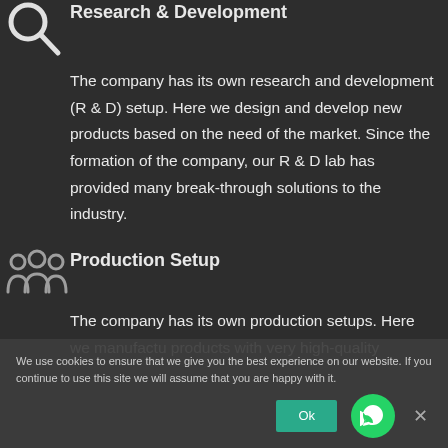Research & Development
The company has its own research and development (R & D) setup. Here we design and develop new products based on the need of the market. Since the formation of the company, our R & D lab has provided many break-through solutions to the industry.
Production Setup
The company has its own production setups. Here we manufactu products with very high-quality
We use cookies to ensure that we give you the best experience on our website. If you continue to use this site we will assume that you are happy with it.